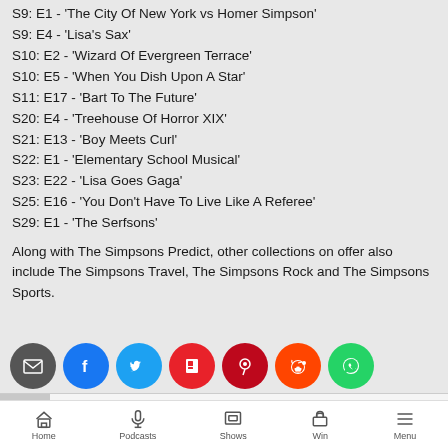S9: E1 - 'The City Of New York vs Homer Simpson'
S9: E4 - 'Lisa's Sax'
S10: E2 - 'Wizard Of Evergreen Terrace'
S10: E5 - 'When You Dish Upon A Star'
S11: E17 - 'Bart To The Future'
S20: E4 - 'Treehouse Of Horror XIX'
S21: E13 - 'Boy Meets Curl'
S22: E1 - 'Elementary School Musical'
S23: E22 - 'Lisa Goes Gaga'
S25: E16 - 'You Don't Have To Live Like A Referee'
S29: E1 - 'The Serfsons'
Along with The Simpsons Predict, other collections on offer also include The Simpsons Travel, The Simpsons Rock and The Simpsons Sports.
[Figure (infographic): Social sharing buttons: Email (dark grey), Facebook (blue), Twitter (light blue), Flipboard (red), Pinterest (dark red), Reddit (orange), WhatsApp (green)]
[Figure (infographic): iHeartRadio live radio bar with LIVE badge, 'Listen on iHeartRadio' text, progress bar, play button]
[Figure (infographic): Bottom navigation bar with Home, Podcasts, Shows, Win, Menu icons]